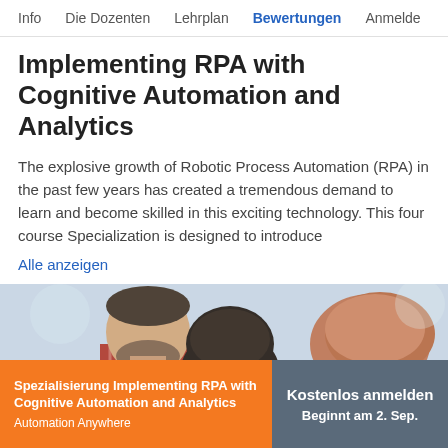Info   Die Dozenten   Lehrplan   Bewertungen   Anmelde
Implementing RPA with Cognitive Automation and Analytics
The explosive growth of Robotic Process Automation (RPA) in the past few years has created a tremendous demand to learn and become skilled in this exciting technology. This four course Specialization is designed to introduce
Alle anzeigen
[Figure (photo): Two people looking down at something, collaborating, man with beard in plaid shirt and woman with dark hair, another person with reddish hair visible at right, blurred office background]
Spezialisierung Implementing RPA with Cognitive Automation and Analytics
Automation Anywhere
Kostenlos anmelden
Beginnt am 2. Sep.